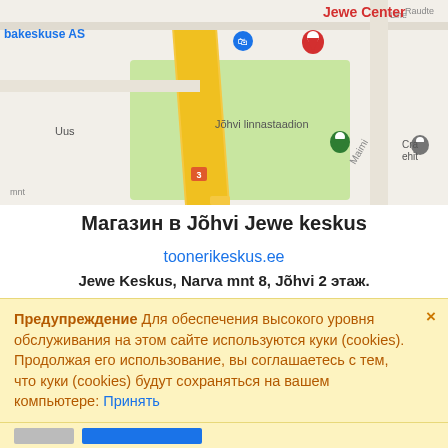[Figure (map): Google Maps screenshot showing Jewe Center location in Jõhvi with a red pin marker, nearby landmarks including Jõhvi linnastaadion, bakeskuse AS, roads, and green park area.]
Магазин в Jõhvi Jewe keskus
toonerikeskus.ee
Jewe Keskus, Narva mnt 8, Jõhvi 2 этаж.
Пн - Пт 10:00 - 18:00
Сб - Вс Закрыто.
+372 5064135
Предупреждение   Для обеспечения высокого уровня обслуживания на этом сайте используются куки (cookies). Продолжая его использование, вы соглашаетесь с тем, что куки (cookies) будут сохраняться на вашем компьютере: Принять